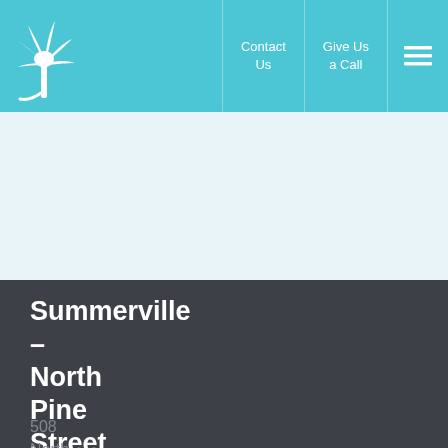[Figure (logo): White palm tree logo on teal/cyan background]
Contact Us | Give Us a Call | Menu
Summerville – North Pine Street Office
508 North